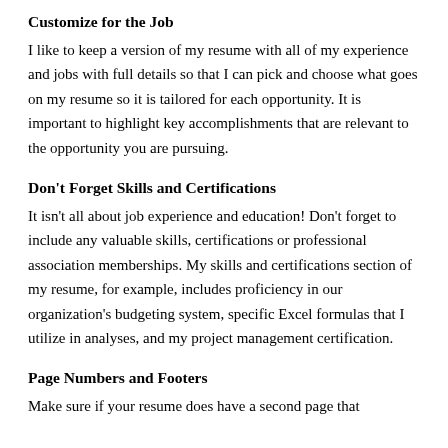Customize for the Job
I like to keep a version of my resume with all of my experience and jobs with full details so that I can pick and choose what goes on my resume so it is tailored for each opportunity. It is important to highlight key accomplishments that are relevant to the opportunity you are pursuing.
Don't Forget Skills and Certifications
It isn't all about job experience and education! Don't forget to include any valuable skills, certifications or professional association memberships. My skills and certifications section of my resume, for example, includes proficiency in our organization's budgeting system, specific Excel formulas that I utilize in analyses, and my project management certification.
Page Numbers and Footers
Make sure if your resume does have a second page that